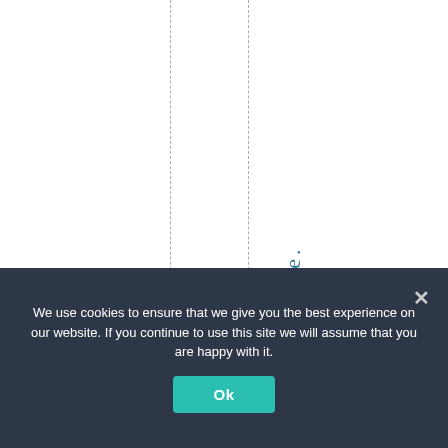the future.
All thes
We use cookies to ensure that we give you the best experience on our website. If you continue to use this site we will assume that you are happy with it. Ok